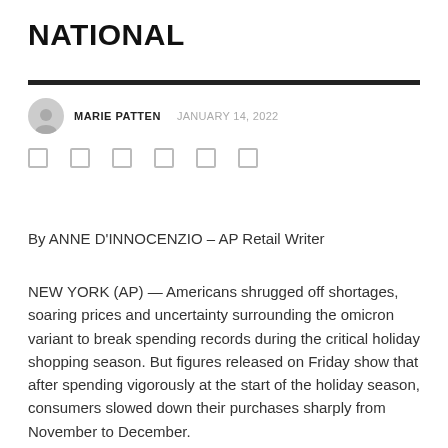NATIONAL
MARIE PATTEN  JANUARY 14, 2022
By ANNE D'INNOCENZIO – AP Retail Writer
NEW YORK (AP) — Americans shrugged off shortages, soaring prices and uncertainty surrounding the omicron variant to break spending records during the critical holiday shopping season. But figures released on Friday show that after spending vigorously at the start of the holiday season, consumers slowed down their purchases sharply from November to December.